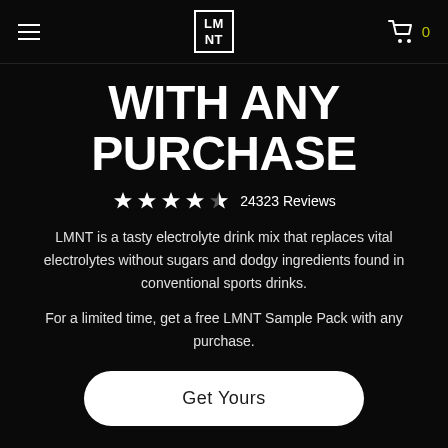LMNT - navigation bar with hamburger menu, LMNT logo, cart icon and 0
WITH ANY PURCHASE
★★★★½  24323 Reviews
LMNT is a tasty electrolyte drink mix that replaces vital electrolytes without sugars and dodgy ingredients found in conventional sports drinks.
For a limited time, get a free LMNT Sample Pack with any purchase.
Get Yours